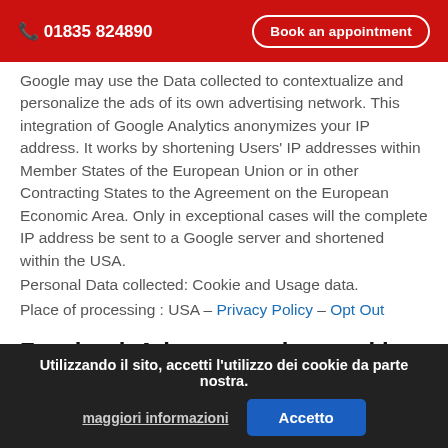📞 01835 824890   Book an appointment
Google may use the Data collected to contextualize and personalize the ads of its own advertising network. This integration of Google Analytics anonymizes your IP address. It works by shortening Users' IP addresses within Member States of the European Union or in other Contracting States to the Agreement on the European Economic Area. Only in exceptional cases will the complete IP address be sent to a Google server and shortened within the USA.
Personal Data collected: Cookie and Usage data.
Place of processing : USA – Privacy Policy – Opt Out
Facebook Ads conversion tracking (Facebook, Inc.)
Facebook Ads conversion tracking is an analytics service provided by Facebook, Inc. that connects data from the Facebook advertising network with actions performed on this Application.
Personal Data collected: Cookie and Usage data.
Utilizzando il sito, accetti l'utilizzo dei cookie da parte nostra.
maggiori informazioni   Accetto